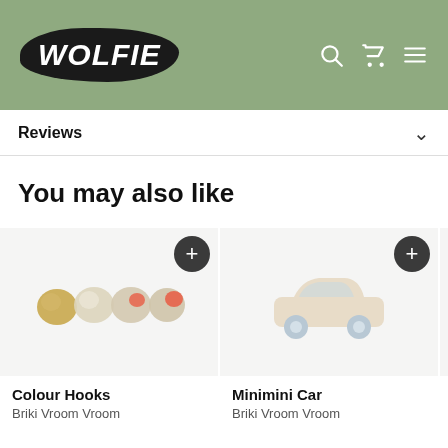WOLFIE
Reviews
You may also like
[Figure (photo): Product card: Colour Hooks by Briki Vroom Vroom - four small colourful wooden hook shapes]
Colour Hooks
Briki Vroom Vroom
[Figure (photo): Product card: Minimini Car by Briki Vroom Vroom - small wooden toy car with light blue wheels]
Minimini Car
Briki Vroom Vroom
[Figure (photo): Partial product card: Moon - Picca L]
Moon
Picca L